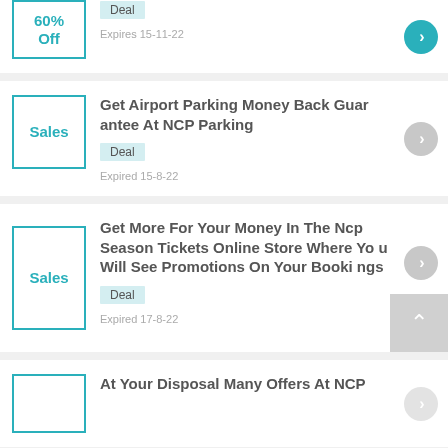60% Off | Deal | Expires 15-11-22
Get Airport Parking Money Back Guarantee At NCP Parking | Deal | Expired 15-8-22
Get More For Your Money In The Ncp Season Tickets Online Store Where You Will See Promotions On Your Bookings | Deal | Expired 17-8-22
At Your Disposal Many Offers At NCP